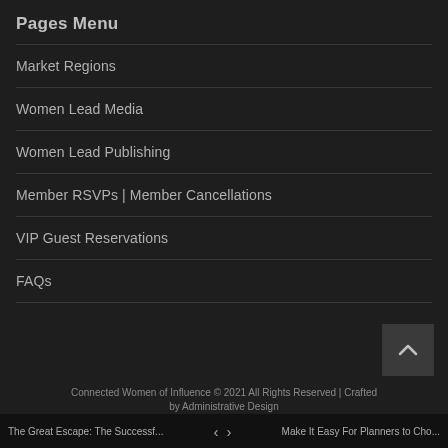Pages Menu
Market Regions
Women Lead Media
Women Lead Publishing
Member RSVPs | Member Cancellations
VIP Guest Reservations
FAQs
Connected Women of Influence © 2021 All Rights Reserved | Crafted by Administrative Design
The Great Escape: The Successf...    ‹  ›    Make It Easy For Planners to Cho...